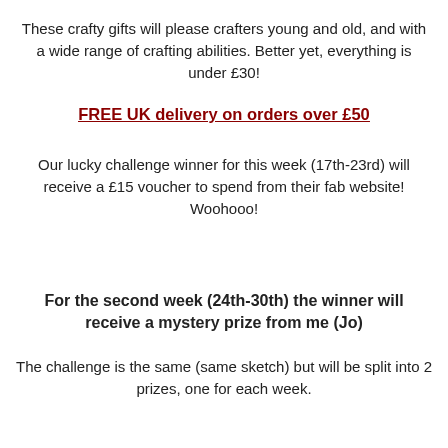These crafty gifts will please crafters young and old, and with a wide range of crafting abilities. Better yet, everything is under £30!
FREE UK delivery on orders over £50
Our lucky challenge winner for this week (17th-23rd) will receive a £15 voucher to spend from their fab website! Woohooo!
For the second week (24th-30th) the winner will receive a mystery prize from me (Jo)
The challenge is the same (same sketch) but will be split into 2 prizes, one for each week.